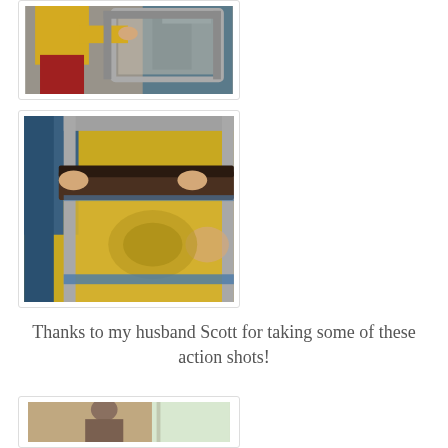[Figure (photo): Person in yellow shirt and red pants working with screen printing equipment, handling a metal frame at a screen printing press.]
[Figure (photo): Close-up of a squeegee being pulled across a yellow screen printing mesh frame with a design visible, hands visible at right.]
Thanks to my husband Scott for taking some of these action shots!
[Figure (photo): Partially visible photo at bottom of page showing a person, likely in a workshop or studio setting near a window.]